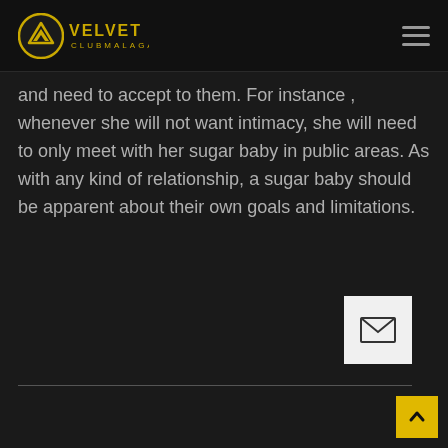Velvet Club Malaga
and need to accept to them. For instance , whenever she will not want intimacy, she will need to only meet with her sugar baby in public areas. As with any kind of relationship, a sugar baby should be apparent about their own goals and limitations.
[Figure (other): Email/envelope icon button - white square button with envelope icon]
[Figure (other): Back to top arrow button - yellow/gold square button with upward arrow]